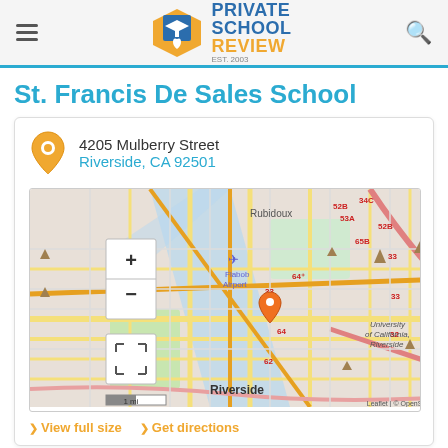Private School Review
St. Francis De Sales School
4205 Mulberry Street
Riverside, CA 92501
[Figure (map): Street map centered on St. Francis De Sales School location in Riverside, CA near Flabob Airport and University of California, Riverside. Shows map controls (+/-), scale bar (1 mi), and an orange location pin. Labels include Rubidoux, Flabob Airport, Riverside, University of California Riverside, and route numbers 52B, 53A, 34C, 65B, 52B, 33, 64, 33, 32, 31, 30B, 62. Attribution: Leaflet | © OpenStreetMap]
View full size   Get directions